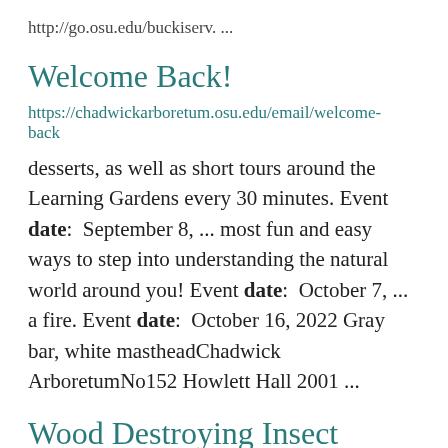http://go.osu.edu/buckiserv. ...
Welcome Back!
https://chadwickarboretum.osu.edu/email/welcome-back
desserts, as well as short tours around the Learning Gardens every 30 minutes. Event date:  September 8, ... most fun and easy ways to step into understanding the natural world around you! Event date:  October 7, ... a fire. Event date:  October 16, 2022 Gray bar, white mastheadChadwick ArboretumNo152 Howlett Hall 2001 ...
Wood Destroying Insect Inspection-